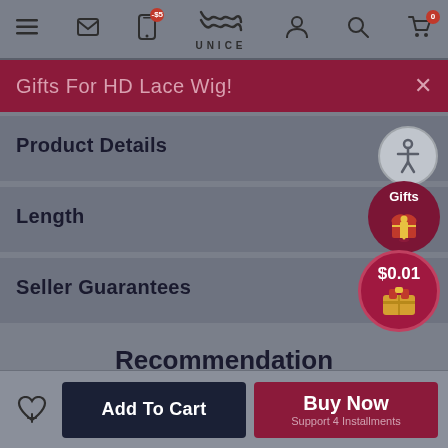UNICE — navigation bar with menu, mail, phone (-$5), logo, user, search, cart (0)
Gifts For HD Lace Wig!
Product Details
Length
Seller Guarantees
Recommendation
Add To Cart
Buy Now — Support 4 Installments